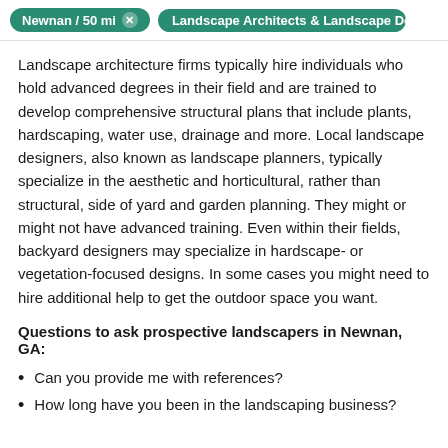Newnan / 50 mi  ×   Landscape Architects & Landscape Design
Landscape architecture firms typically hire individuals who hold advanced degrees in their field and are trained to develop comprehensive structural plans that include plants, hardscaping, water use, drainage and more. Local landscape designers, also known as landscape planners, typically specialize in the aesthetic and horticultural, rather than structural, side of yard and garden planning. They might or might not have advanced training. Even within their fields, backyard designers may specialize in hardscape- or vegetation-focused designs. In some cases you might need to hire additional help to get the outdoor space you want.
Questions to ask prospective landscapers in Newnan, GA:
Can you provide me with references?
How long have you been in the landscaping business?